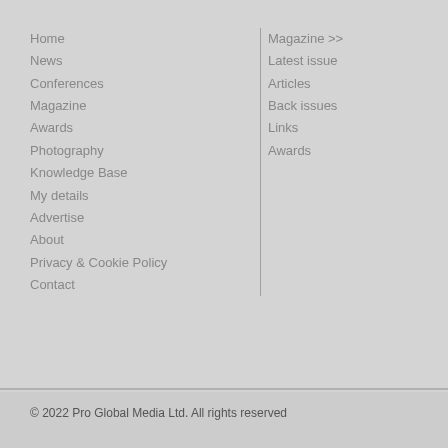Home
News
Conferences
Magazine
Awards
Photography
Knowledge Base
My details
Advertise
About
Privacy & Cookie Policy
Contact
Magazine >>
Latest issue
Articles
Back issues
Links
Awards
© 2022 Pro Global Media Ltd. All rights reserved